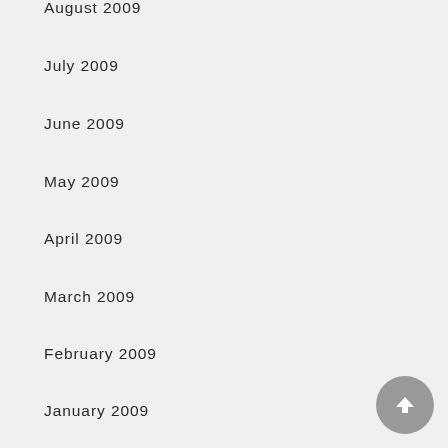August 2009
July 2009
June 2009
May 2009
April 2009
March 2009
February 2009
January 2009
December 2008
November 2008
October 2008